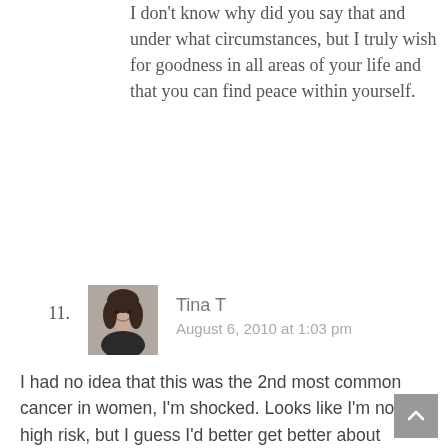I don't know why did you say that and under what circumstances, but I truly wish for goodness in all areas of your life and that you can find peace within yourself.
11.
[Figure (photo): Avatar photo of Tina T, a woman with dark hair]
Tina T
August 6, 2010 at 1:03 pm
I had no idea that this was the 2nd most common cancer in women, I'm shocked. Looks like I'm not high risk, but I guess I'd better get better about those screenings since my husband and kids need me and I sure don't plan on going anywhere any time soon. Thanks for sharing this important information.
.-= Tina T's last blog ..Why Women